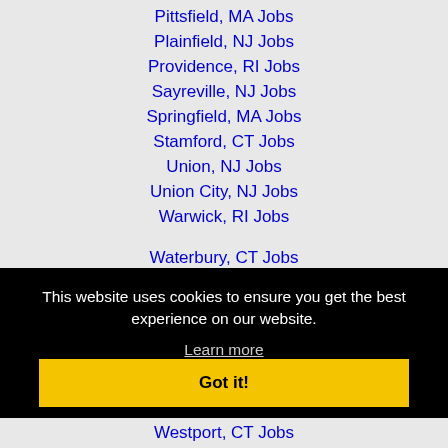Pittsfield, MA Jobs
Plainfield, NJ Jobs
Providence, RI Jobs
Sayreville, NJ Jobs
Springfield, MA Jobs
Stamford, CT Jobs
Union, NJ Jobs
Union City, NJ Jobs
Warwick, RI Jobs
Waterbury, CT Jobs (partial)
This website uses cookies to ensure you get the best experience on our website.
Learn more
Got it!
Westport, CT Jobs